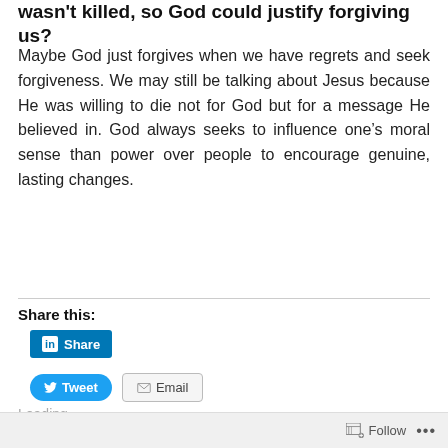wasn't killed, so God could justify forgiving us?
Maybe God just forgives when we have regrets and seek forgiveness. We may still be talking about Jesus because He was willing to die not for God but for a message He believed in. God always seeks to influence one's moral sense than power over people to encourage genuine, lasting changes.
Share this:
[Figure (screenshot): LinkedIn Share button (blue), Tweet button (blue, rounded), Email button (gray outline)]
Loading...
Follow ...